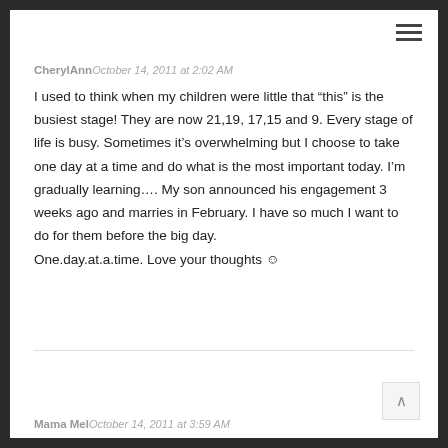[Figure (other): Hamburger menu icon (three horizontal lines) in top right corner]
CherylAnn October 14, 2011 at 2:02 AM
I used to think when my children were little that “this” is the busiest stage! They are now 21,19, 17,15 and 9. Every stage of life is busy. Sometimes it’s overwhelming but I choose to take one day at a time and do what is the most important today. I’m gradually learning…. My son announced his engagement 3 weeks ago and marries in February. I have so much I want to do for them before the big day. One.day.at.a.time. Love your thoughts 🙂
Mama Mel October 14, 2011 at 3:59 AM